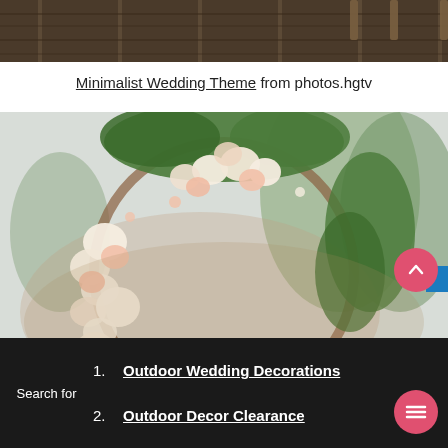[Figure (photo): Top portion of a wooden deck/floor with chair legs visible, dark wood texture]
Minimalist Wedding Theme from photos.hgtv
[Figure (photo): A circular floral wedding arch decorated with white and blush pink roses and green foliage, set outdoors with trees in the background]
1. Outdoor Wedding Decorations
2. Outdoor Decor Clearance